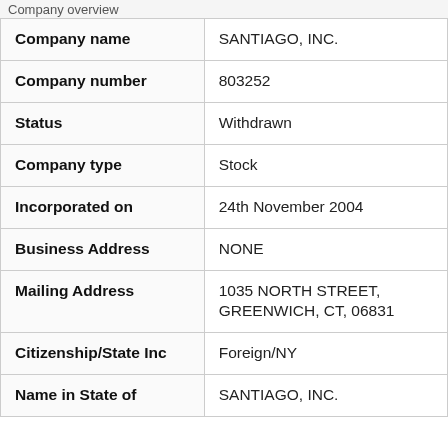Company overview
| Company name | SANTIAGO, INC. |
| Company number | 803252 |
| Status | Withdrawn |
| Company type | Stock |
| Incorporated on | 24th November 2004 |
| Business Address | NONE |
| Mailing Address | 1035 NORTH STREET, GREENWICH, CT, 06831 |
| Citizenship/State Inc | Foreign/NY |
| Name in State of | SANTIAGO, INC. |